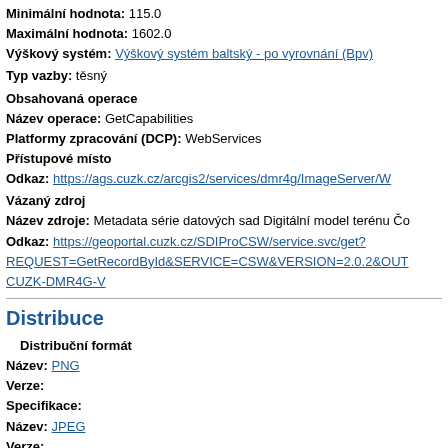Minimální hodnota: 115.0
Maximální hodnota: 1602.0
Výškový systém: Výškový systém baltský - po vyrovnání (Bpv)
Typ vazby: těsný
Obsahovaná operace
Název operace: GetCapabilities
Platformy zpracování (DCP): WebServices
Přístupové místo
Odkaz: https://ags.cuzk.cz/arcgis2/services/dmr4g/ImageServer/W...
Vázaný zdroj
Název zdroje: Metadata série datových sad Digitální model terénu Čo...
Odkaz: https://geoportal.cuzk.cz/SDIProCSW/service.svc/get?REQUEST=GetRecordById&SERVICE=CSW&VERSION=2.0.2&OUT...CUZK-DMR4G-V
Distribuce
Distribuční formát
Název: PNG
Verze:
Specifikace:
Název: JPEG
Verze:
Specifikace:
Název: